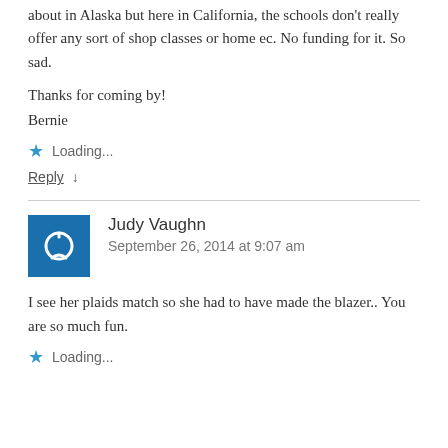about in Alaska but here in California, the schools don't really offer any sort of shop classes or home ec. No funding for it. So sad.
Thanks for coming by!
Bernie
★  Loading...
Reply ↓
Judy Vaughn
September 26, 2014 at 9:07 am
I see her plaids match so she had to have made the blazer.. You are so much fun.
★  Loading...